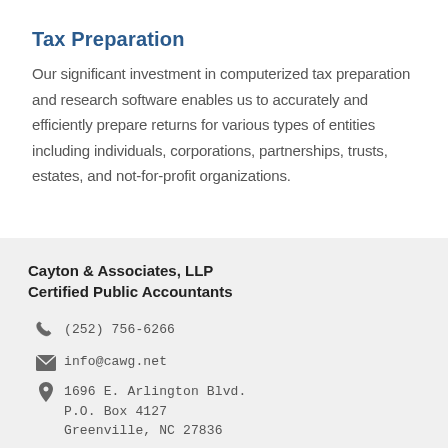Tax Preparation
Our significant investment in computerized tax preparation and research software enables us to accurately and efficiently prepare returns for various types of entities including individuals, corporations, partnerships, trusts, estates, and not-for-profit organizations.
Cayton & Associates, LLP
Certified Public Accountants
(252) 756-6266
info@cawg.net
1696 E. Arlington Blvd.
P.O. Box 4127
Greenville, NC 27836